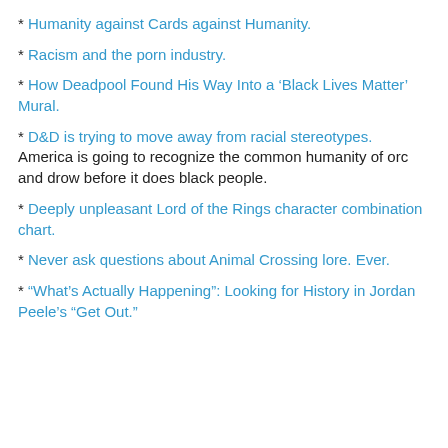* Humanity against Cards against Humanity.
* Racism and the porn industry.
* How Deadpool Found His Way Into a ‘Black Lives Matter’ Mural.
* D&D is trying to move away from racial stereotypes. America is going to recognize the common humanity of orc and drow before it does black people.
* Deeply unpleasant Lord of the Rings character combination chart.
* Never ask questions about Animal Crossing lore. Ever.
* “What’s Actually Happening”: Looking for History in Jordan Peele’s “Get Out.”